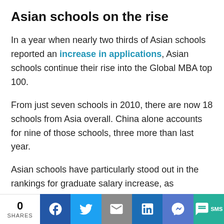Asian schools on the rise
In a year when nearly two thirds of Asian schools reported an increase in applications, Asian schools continue their rise into the Global MBA top 100.
From just seven schools in 2010, there are now 18 schools from Asia overall. China alone accounts for nine of those schools, three more than last year.
Asian schools have particularly stood out in the rankings for graduate salary increase, as
0 SHARES | Facebook | Twitter | Email | LinkedIn | Messenger | SMS